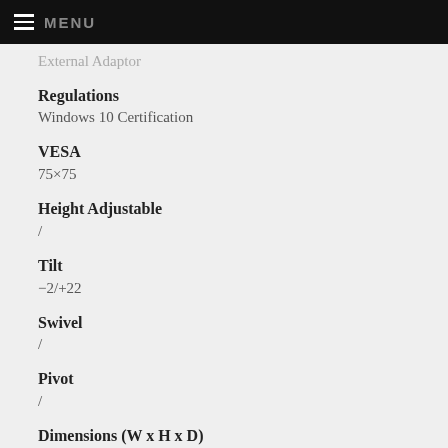MENU
External Adaptor
Regulations
Windows 10 Certification
VESA
75×75
Height Adjustable
/
Tilt
−2/+22
Swivel
/
Pivot
/
Dimensions (W x H x D)
Width712 mm
Depth261.7 mm